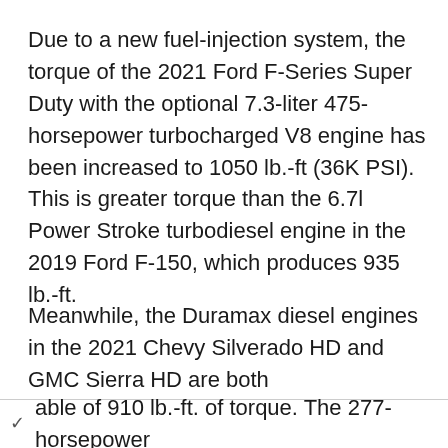Due to a new fuel-injection system, the torque of the 2021 Ford F-Series Super Duty with the optional 7.3-liter 475-horsepower turbocharged V8 engine has been increased to 1050 lb.-ft (36K PSI). This is greater torque than the 6.7l Power Stroke turbodiesel engine in the 2019 Ford F-150, which produces 935 lb.-ft.
Meanwhile, the Duramax diesel engines in the 2021 Chevy Silverado HD and GMC Sierra HD are both able of 910 lb.-ft. of torque. The 277-horsepower